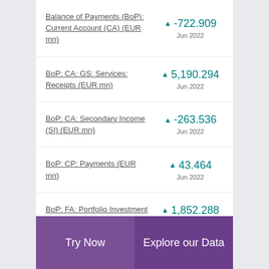Balance of Payments (BoP): Current Account (CA) (EUR mn) ▲ -722.909 Jun 2022
BoP: CA: GS: Services: Receipts (EUR mn) ▲ 5,190.294 Jun 2022
BoP: CA: Secondary Income (SI) (EUR mn) ▲ -263.536 Jun 2022
BoP: CP: Payments (EUR mn) ▲ 43.464 Jun 2022
BoP: FA: Portfolio Investment (PI) (EUR mn) ▲ 1,852.288 Jun 2022
Try Now  |  Explore our Data